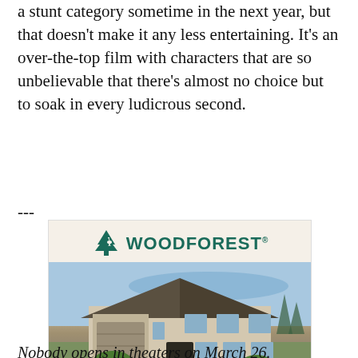a stunt category sometime in the next year, but that doesn't make it any less entertaining. It's an over-the-top film with characters that are so unbelievable that there's almost no choice but to soak in every ludicrous second.
---
[Figure (illustration): Woodforest advertisement showing a luxury home. Logo with tree icon and 'WOODFOREST' text in teal. Photo of a large stone/brick house. Text reads '75 new homes UNDER CONSTRUCTION + MOVE-IN READY' with a 'FIND YOUR NEW HOME' button.]
Nobody opens in theaters on March 26.